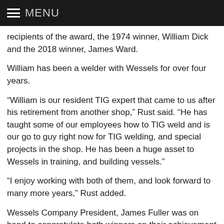MENU
recipients of the award, the 1974 winner, William Dick and the 2018 winner, James Ward.
William has been a welder with Wessels for over four years.
“William is our resident TIG expert that came to us after his retirement from another shop,” Rust said. “He has taught some of our employees how to TIG weld and is our go to guy right now for TIG welding, and special projects in the shop. He has been a huge asset to Wessels in training, and building vessels.”
“I enjoy working with both of them, and look forward to many more years,” Rust added.
Wessels Company President, James Fuller was on hand to congratulate both winners on their achievement and to thank them for their hard work.